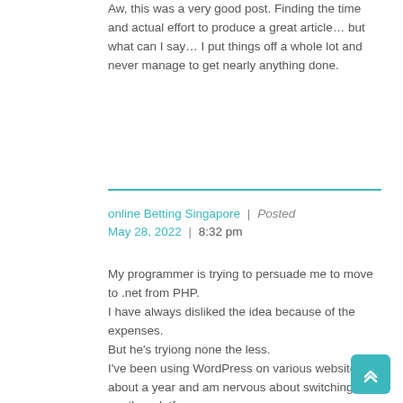Aw, this was a very good post. Finding the time and actual effort to produce a great article… but what can I say… I put things off a whole lot and never manage to get nearly anything done.
online Betting Singapore | Posted May 28, 2022 | 8:32 pm
My programmer is trying to persuade me to move to .net from PHP. I have always disliked the idea because of the expenses. But he's tryiong none the less. I've been using WordPress on various websites for about a year and am nervous about switching to another platform.
I have heard good things about blogengine.net. Is there a way I can import all my